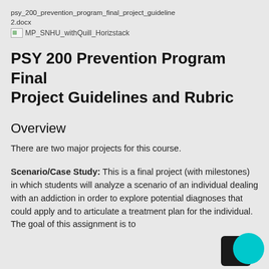psy_200_prevention_program_final_project_guidelines2.docx
[Figure (logo): SNHU logo placeholder image: MP_SNHU_withQuill_Horizstack]
PSY 200 Prevention Program Final Project Guidelines and Rubric
Overview
There are two major projects for this course.
Scenario/Case Study: This is a final project (with milestones) in which students will analyze a scenario of an individual dealing with an addiction in order to explore potential diagnoses that could apply and to articulate a treatment plan for the individual. The goal of this assignment is to